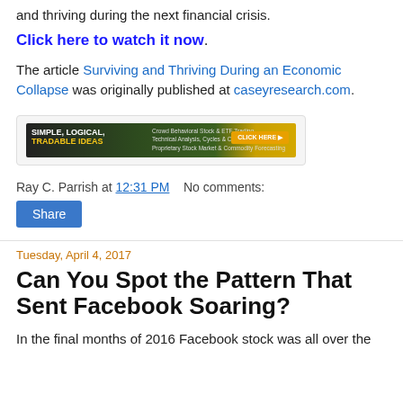and thriving during the next financial crisis.
Click here to watch it now.
The article Surviving and Thriving During an Economic Collapse was originally published at caseyresearch.com.
[Figure (illustration): Advertisement banner: Simple, Logical, Tradable Ideas - Crowd Behavioral Stock & ETF Trading, Technical Analysis, Cycles & Commodity, Proprietary Stock Market & Commodity Forecasting]
Ray C. Parrish at 12:31 PM   No comments:
Share
Tuesday, April 4, 2017
Can You Spot the Pattern That Sent Facebook Soaring?
In the final months of 2016 Facebook stock was all over the